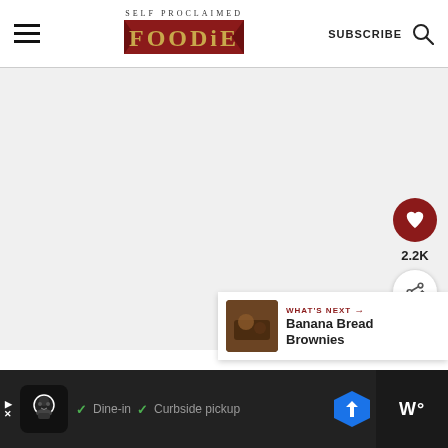SELF PROCLAIMED FOODIE — SUBSCRIBE
[Figure (screenshot): Large blank/gray content area (main article image area, mostly white/light gray)]
[Figure (infographic): Sidebar: heart button (red circle with white heart icon), 2.2K count, share button (white circle with share icon)]
2.2K
[Figure (infographic): WHAT'S NEXT card with thumbnail image and text 'Banana Bread Brownies']
WHAT'S NEXT → Banana Bread Brownies
[Figure (screenshot): Ad bar at bottom: chef logo, checkmarks with 'Dine-in' and 'Curbside pickup', Google Maps direction icon, sidebar content]